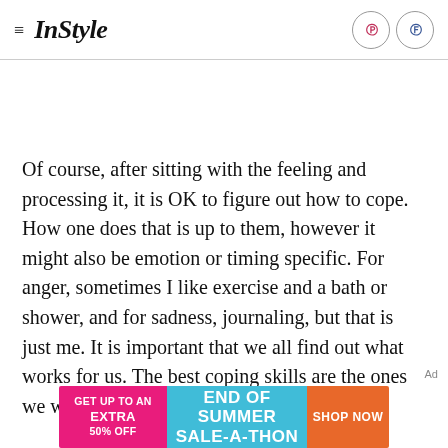≡ InStyle
Of course, after sitting with the feeling and processing it, it is OK to figure out how to cope. How one does that is up to them, however it might also be emotion or timing specific. For anger, sometimes I like exercise and a bath or shower, and for sadness, journaling, but that is just me. It is important that we all find out what works for us. The best coping skills are the ones we will do.
[Figure (infographic): End of Summer Sale-a-thon advertisement banner with pink left section showing 'GET UP TO AN EXTRA 50% OFF', teal center section with 'END OF SUMMER SALE-A-THON', and orange right button 'SHOP NOW']